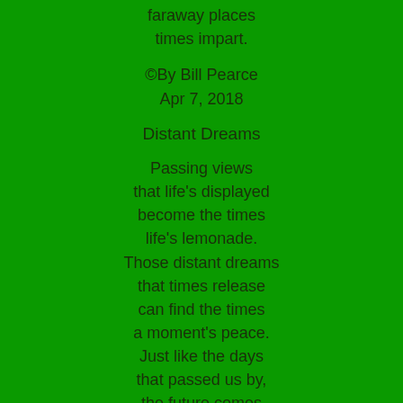faraway places
times impart.
©By Bill Pearce
Apr 7,  2018
Distant Dreams
Passing views
that life's displayed
become the times
life's lemonade.
Those distant dreams
that times release
can find the times
a moment's peace.
Just like the days
that passed us by,
the future comes
to say goodbye.
Those distant dreams
become our past